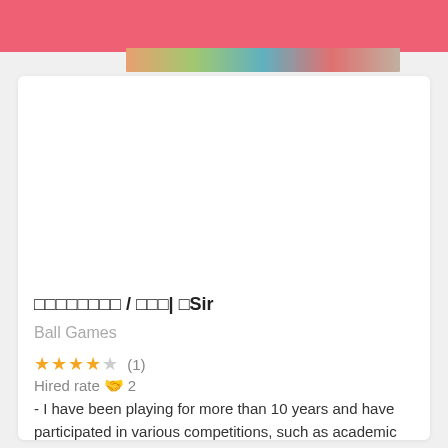[Figure (photo): Pink header bar at top of page with colorful image strip below]
□□□□□□□□ / □□□| □Sir
Ball Games
★★★★☆ (1)
Hired rate 🤝 2
- I have been playing for more than 10 years and have participated in various competitions, such as academic competitions, college competitions, Hong Kong
Badminton Lesson